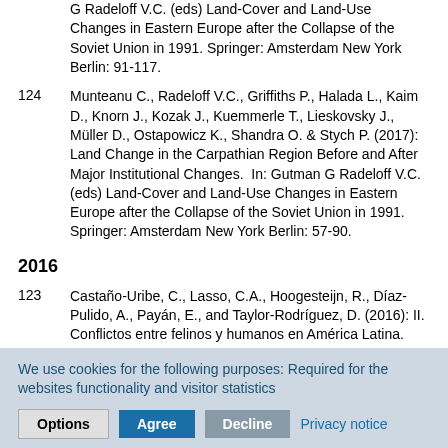G Radeloff V.C. (eds) Land-Cover and Land-Use Changes in Eastern Europe after the Collapse of the Soviet Union in 1991. Springer: Amsterdam New York Berlin: 91-117.
124   Munteanu C., Radeloff V.C., Griffiths P., Halada L., Kaim D., Knorn J., Kozak J., Kuemmerle T., Lieskovsky J., Müller D., Ostapowicz K., Shandra O. & Stych P. (2017): Land Change in the Carpathian Region Before and After Major Institutional Changes.  In: Gutman G Radeloff V.C. (eds) Land-Cover and Land-Use Changes in Eastern Europe after the Collapse of the Soviet Union in 1991. Springer: Amsterdam New York Berlin: 57-90.
2016
123   Castaño-Uribe, C., Lasso, C.A., Hoogesteijn, R., Díaz-Pulido, A., Payán, E., and Taylor-Rodríguez, D. (2016): II. Conflictos entre felinos y humanos en América Latina. Instituto de Investigación de Recursos Biológicos Alexander von Humboldt (IAvH).
We use cookies for the following purposes: Required for the websites functionality and visitor statistics
Options   Agree   Decline   Privacy notice